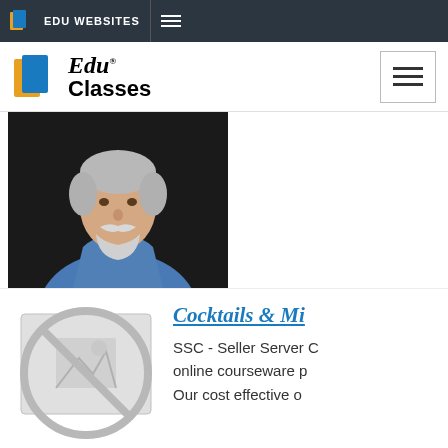EDU WEBSITES
[Figure (logo): EduClasses logo with orange and blue book icon, italic serif E and 'du' text, bold 'Classes' text below]
[Figure (photo): Portrait photo of an older man with white hair and beard wearing a blue denim shirt against a dark background]
Cocktails & Mi…
SSC - Seller Server C… online courseware p… Our cost effective o…